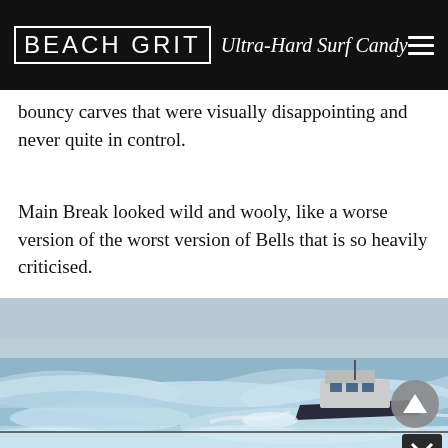BEACH GRIT Ultra-Hard Surf Candy
bouncy carves that were visually disappointing and never quite in control.
Main Break looked wild and wooly, like a worse version of the worst version of Bells that is so heavily criticised.
[Figure (photo): A boat navigating through large crashing ocean waves, seen from an aerial or elevated angle. The sea is rough with white foam and spray.]